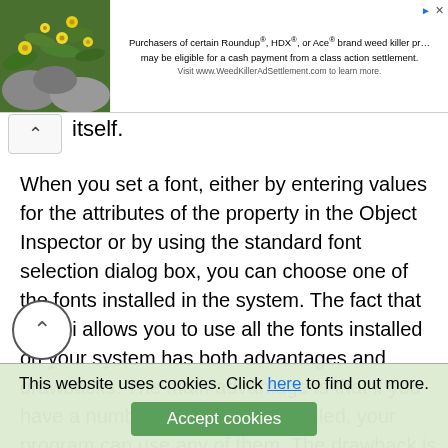[Figure (screenshot): Advertisement banner: photo of green plants with yellow flowers on left; text about Roundup/HDX/Ace weed killer class action settlement on right]
itself.
When you set a font, either by entering values for the attributes of the property in the Object Inspector or by using the standard font selection dialog box, you can choose one of the fonts installed in the system. The fact that Delphi allows you to use all the fonts installed on your system has both advantages and drawbacks. The main advantage is that if you have a number of nice fonts installed, your program can use any of them. The drawback is that if you distribute your application, these fonts might not be available on your users' computers.
If your program uses a font that your user doesn't have, Windows will select some other font to use in its place. A
This website uses cookies. Click here to find out more. Accept cookies